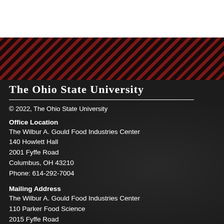[Figure (illustration): Diagonal red and dark stripe pattern band across the page]
The Ohio State University
© 2022, The Ohio State University
Office Location
The Wilbur A. Gould Food Industries Center
140 Howlett Hall
2001 Fyffe Road
Columbus, OH 43210
Phone: 614-292-7004
Mailing Address
The Wilbur A. Gould Food Industries Center
110 Parker Food Science
2015 Fyffe Road